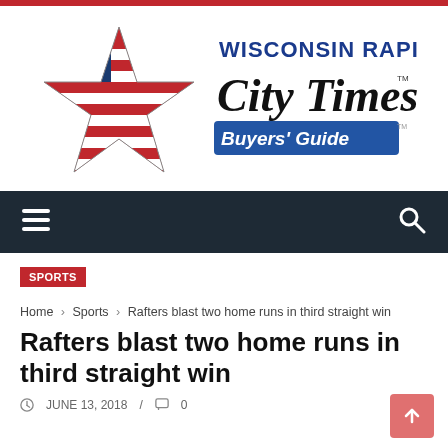[Figure (logo): Wisconsin Rapids City Times Buyers' Guide logo with American flag star graphic on left and stylized newspaper masthead text on right]
Navigation bar with hamburger menu and search icon
SPORTS
Home › Sports › Rafters blast two home runs in third straight win
Rafters blast two home runs in third straight win
JUNE 13, 2018 / 0